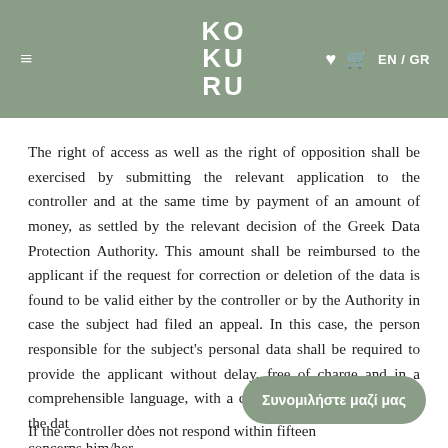KO KU RU — EN / GR
The right of access as well as the right of opposition shall be exercised by submitting the relevant application to the controller and at the same time by payment of an amount of money, as settled by the relevant decision of the Greek Data Protection Authority. This amount shall be reimbursed to the applicant if the request for correction or deletion of the data is found to be valid either by the controller or by the Authority in case the subject had filed an appeal. In this case, the person responsible for the subject's personal data shall be required to provide the applicant without delay, free of charge and in a comprehensible language, with a copy of the corrected part of the data that concerns him/her.
If the controller does not respond within fifteen (15) days or if his/her